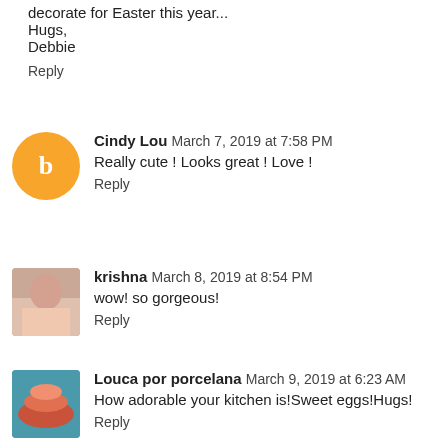decorate for Easter this year...
Hugs,
Debbie
Reply
Cindy Lou  March 7, 2019 at 7:58 PM
Really cute ! Looks great ! Love !
Reply
krishna  March 8, 2019 at 8:54 PM
wow! so gorgeous!
Reply
Louca por porcelana  March 9, 2019 at 6:23 AM
How adorable your kitchen is!Sweet eggs!Hugs!
Reply